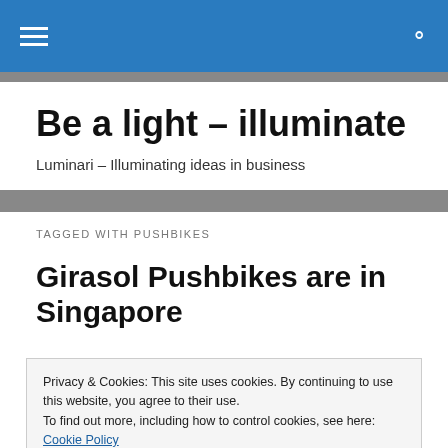Navigation bar with hamburger menu and search icon
Be a light – illuminate
Luminari – Illuminating ideas in business
TAGGED WITH PUSHBIKES
Girasol Pushbikes are in Singapore
Privacy & Cookies: This site uses cookies. By continuing to use this website, you agree to their use.
To find out more, including how to control cookies, see here: Cookie Policy
Close and accept